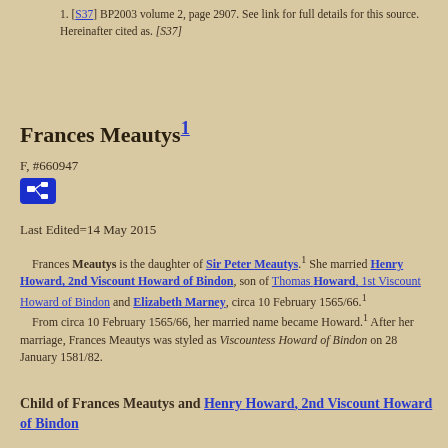1. [S37] BP2003 volume 2, page 2907. See link for full details for this source. Hereinafter cited as. [S37]
Frances Meautys1
F, #660947
[Figure (other): Blue icon button with network/relationship diagram symbol]
Last Edited=14 May 2015
Frances Meautys is the daughter of Sir Peter Meautys.1 She married Henry Howard, 2nd Viscount Howard of Bindon, son of Thomas Howard, 1st Viscount Howard of Bindon and Elizabeth Marney, circa 10 February 1565/66.1 From circa 10 February 1565/66, her married name became Howard.1 After her marriage, Frances Meautys was styled as Viscountess Howard of Bindon on 28 January 1581/82.
Child of Frances Meautys and Henry Howard, 2nd Viscount Howard of Bindon